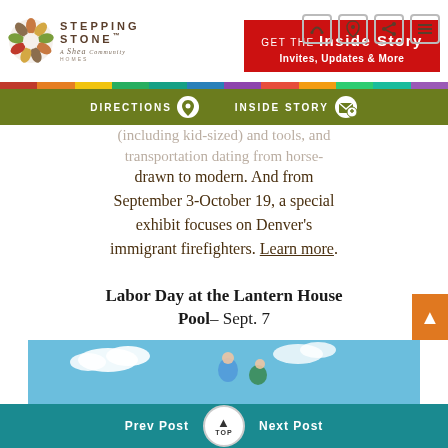[Figure (logo): Stepping Stone - A Shea Homes Community logo with colorful mosaic circle]
[Figure (screenshot): Red banner CTA: GET THE Inside Story - Invites, Updates & More]
(including kid-sized) and tools, and transportation dating from horse-drawn to modern. And from September 3-October 19, a special exhibit focuses on Denver's immigrant firefighters. Learn more.
Labor Day at the Lantern House Pool– Sept. 7
[Figure (photo): Children playing at a pool on a sunny day with blue sky and clouds]
Prev Post  TOP  Next Post